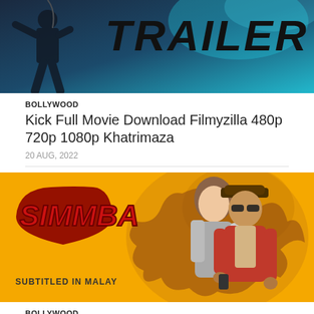[Figure (photo): Movie promotional banner with a dark silhouette of a person in action pose against a teal/blue background with the word TRAILER in bold black italic text]
BOLLYWOOD
Kick Full Movie Download Filmyzilla 480p 720p 1080p Khatrimaza
20 AUG, 2022
[Figure (photo): Simmba movie promotional poster with yellow/orange background featuring two actors posed dramatically. Red stylized SIMMBA logo on left side with text SUBTITLED IN MALAY below.]
BOLLYWOOD
Simmba Full Movie Download Filmyzilla 480p 720p